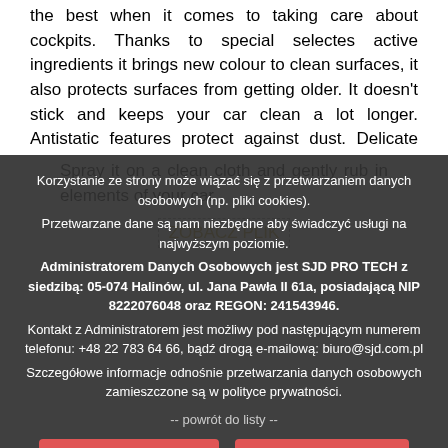the best when it comes to taking care about cockpits. Thanks to special selectes active ingredients it brings new colour to clean surfaces, it also protects surfaces from getting older. It doesn't stick and keeps your car clean a lot longer. Antistatic features protect against dust. Delicate fragrance brings freshness to your car.
Spray it on a clean cloth and gently rub in elements of your car.
Korzystanie ze strony może wiązać się z przetwarzaniem danych osobowych (np. pliki cookies). Przetwarzane dane są nam niezbędne aby świadczyć usługi na najwyższym poziomie. Administratorem Danych Osobowych jest SJD PRO TECH z siedzibą: 05-074 Halinów, ul. Jana Pawła II 61a, posiadającą NIP 8222076048 oraz REGON: 241543946. Kontakt z Administratorem jest możliwy pod następującym numerem telefonu: +48 22 783 64 66, bądź drogą e-mailową: biuro@sjd.com.pl Szczegółowe informacje odnośnie przetwarzania danych osobowych zamieszczone są w polityce prywatności.
-- powrót do listy --
Zgadzam się / I agree
Polityka prywatności